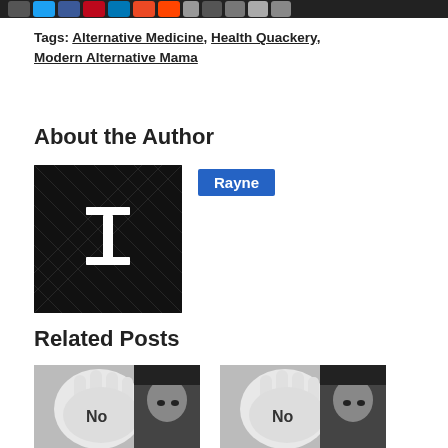Share [icons: Twitter, Facebook, Pinterest, LinkedIn, StumbleUpon, Reddit, and others]
Tags: Alternative Medicine, Health Quackery, Modern Alternative Mama
About the Author
[Figure (photo): Author avatar — dark background with white cursor/pointer icon, for author named Rayne]
Rayne
Related Posts
[Figure (photo): Black and white photo of a woman holding up her hand with 'No' written on the palm — related post thumbnail]
5 Myths Regarding Alternative Medicine That…
[Figure (photo): Black and white photo of a woman holding up her hand with 'No' written on the palm — related post thumbnail]
The Big Pharma conspiracy is a…